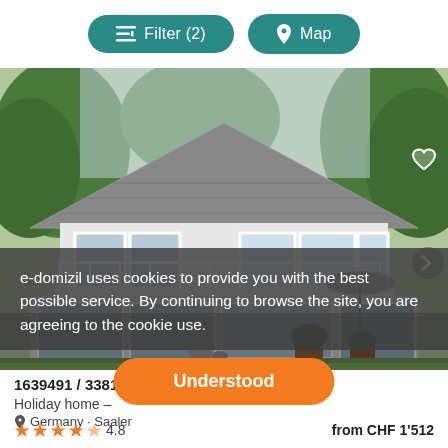[Figure (screenshot): Mobile app top navigation bar with two teal pill-shaped buttons: Filter (2) on the left and Map on the right]
[Figure (photo): Photograph of a modern white holiday home with large glass windows, balcony railings, potted plants, and green garden surroundings]
e-domizil uses cookies to provide you with the best possible service. By continuing to browse the site, you are agreeing to the cookie use.
1639491 / 33814
Holiday home –
Germany · Saaler
[Figure (infographic): Orange rounded button with white text 'Understood']
4.8
from CHF 1'512